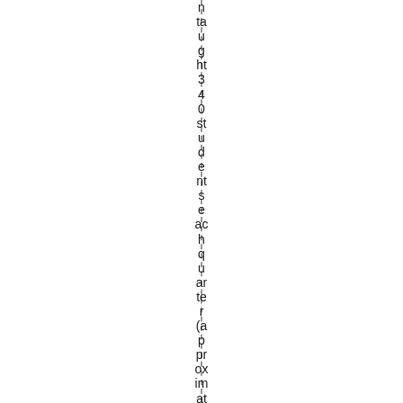n ta u g ht 3 4 0 st u d e nt s e ac h q u ar te r (a p pr ox im at el y f